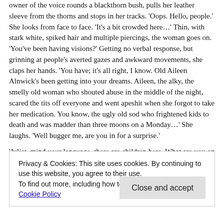owner of the voice rounds a blackthorn bush, pulls her leather sleeve from the thorns and stops in her tracks. 'Oops. Hello, people.' She looks from face to face. 'It's a bit crowded here…' Thin, with stark white, spiked hair and multiple piercings, the woman goes on. 'You've been having visions?' Getting no verbal response, but grinning at people's averted gazes and awkward movements, she claps her hands. 'You have; it's all right, I know. Old Aileen Alnwick's been getting into your dreams. Aileen, the alky, the smelly old woman who shouted abuse in the middle of the night, scared the tits off everyone and went apeshit when she forgot to take her medication. You know, the ugly old sod who frightened kids to death and was madder than three moons on a Monday…' She laughs. 'Well bugger me, are you in for a surprise.'
'Juliet, mind your language, there are children here. What are you on about, anyway?' Meg says.
Privacy & Cookies: This site uses cookies. By continuing to use this website, you agree to their use.
To find out more, including how to control cookies, see here: Cookie Policy
Close and accept